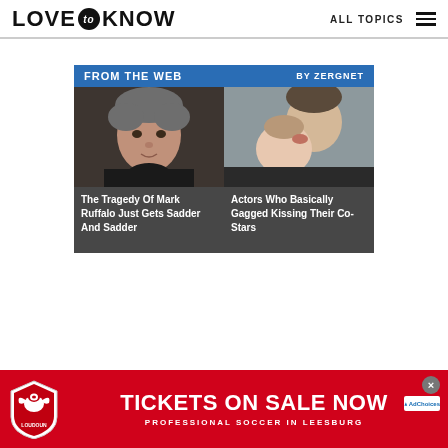LOVE to KNOW — ALL TOPICS
[Figure (screenshot): Zergnet 'From the Web' widget with two article cards. Left card: photo of man (Mark Ruffalo), title 'The Tragedy Of Mark Ruffalo Just Gets Sadder And Sadder'. Right card: photo of couple kissing, title 'Actors Who Basically Gagged Kissing Their Co-Stars'. Header bar says 'FROM THE WEB' with 'BY ZERGNET' on right.]
[Figure (infographic): Red advertisement banner for Loudoun (professional soccer club). Logo shield on left. Text: 'TICKETS ON SALE NOW' in large white bold font. Subtitle: 'PROFESSIONAL SOCCER IN LEESBURG'. Close button (grey circle X) and AdChoices icon top-right.]